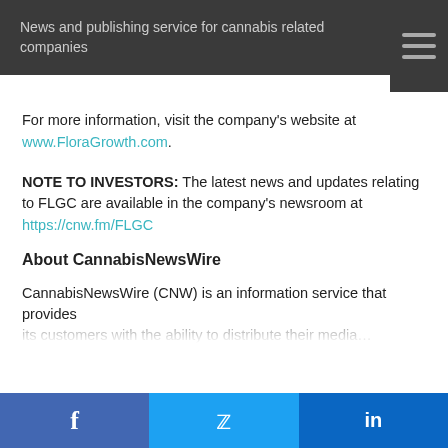News and publishing service for cannabis related companies
For more information, visit the company's website at www.FloraGrowth.com.
NOTE TO INVESTORS: The latest news and updates relating to FLGC are available in the company's newsroom at https://cnw.fm/FLGC
About CannabisNewsWire
CannabisNewsWire (CNW) is an information service that provides its customers with the ability to...
On May 23, 2018, we published revised versions of our Privacy Policy and User Agreements. Please read these updated terms and take some time to understand them. Your use of our services is subject to these revised terms.
Yes, I Agree.